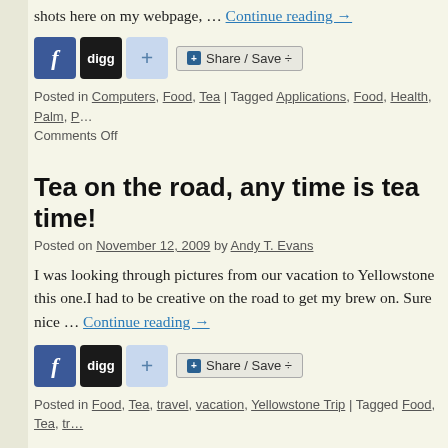shots here on my webpage, … Continue reading →
[Figure (other): Social share buttons: Facebook, Digg, plus button, Share/Save button]
Posted in Computers, Food, Tea | Tagged Applications, Food, Health, Palm, P… Comments Off
Tea on the road, any time is tea time!
Posted on November 12, 2009 by Andy T. Evans
I was looking through pictures from our vacation to Yellowstone this one.I had to be creative on the road to get my brew on. Sure nice … Continue reading →
[Figure (other): Social share buttons: Facebook, Digg, plus button, Share/Save button]
Posted in Food, Tea, travel, vacation, Yellowstone Trip | Tagged Food, Tea, tr…